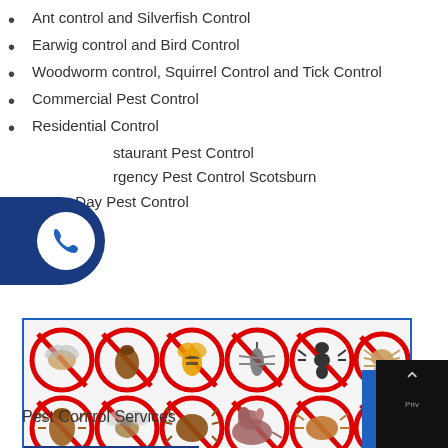Ant control and Silverfish Control
Earwig control and Bird Control
Woodworm control, Squirrel Control and Tick Control
Commercial Pest Control
Residential Control
staurant Pest Control
rgency Pest Control Scotsburn
Same Day Pest Control
[Figure (infographic): Grid of 12 pest control no-entry signs showing various pests (fly, flea, wasp, mosquito, ant, spider, cockroach, fly, tick, rat, bed bug, termite) each crossed out with a red no-entry circle. Quality Clean Pest Control logo at bottom left.]
Pest Control Services